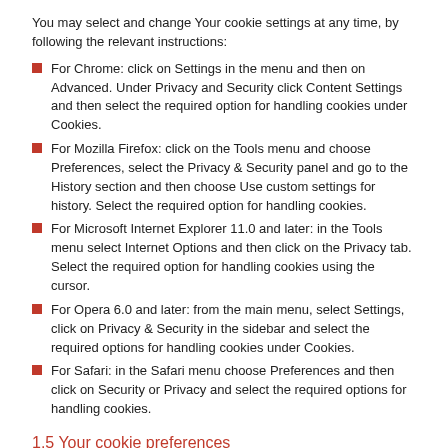You may select and change Your cookie settings at any time, by following the relevant instructions:
For Chrome: click on Settings in the menu and then on Advanced. Under Privacy and Security click Content Settings and then select the required option for handling cookies under Cookies.
For Mozilla Firefox: click on the Tools menu and choose Preferences, select the Privacy & Security panel and go to the History section and then choose Use custom settings for history. Select the required option for handling cookies.
For Microsoft Internet Explorer 11.0 and later: in the Tools menu select Internet Options and then click on the Privacy tab. Select the required option for handling cookies using the cursor.
For Opera 6.0 and later: from the main menu, select Settings, click on Privacy & Security in the sidebar and select the required options for handling cookies under Cookies.
For Safari: in the Safari menu choose Preferences and then click on Security or Privacy and select the required options for handling cookies.
1.5 Your cookie preferences
You may decide which cookies You wish to enable and may therefore change the settings of Your browser to disable all cookies or some cookies only (for example, those installed by a certain website). You may also select a prompt option, allowing You to enable or disable specific cookies before they are stored on Your Terminal.